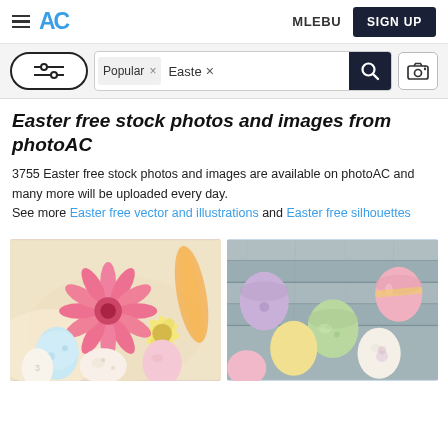≡  AC   MLEBU   SIGN UP
[Figure (screenshot): Search bar with filter button, Popular x tag, Easte x tag, search icon, and camera icon]
Easter free stock photos and images from photoAC
3755 Easter free stock photos and images are available on photoAC and many more will be uploaded every day. See more Easter free vector and illustrations and Easter free silhouettes
[Figure (photo): Easter eggs with pink gerbera daisy and flowers arrangement]
[Figure (photo): Colorful decorated Easter eggs on wooden background]